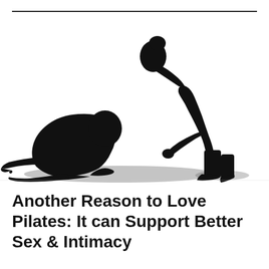[Figure (photo): Black and white silhouette of two people doing Pilates exercises together. One person is seated/curled forward on the ground reaching out, while another person is bent forward standing over them, appearing to assist or guide.]
Another Reason to Love Pilates: It can Support Better Sex & Intimacy